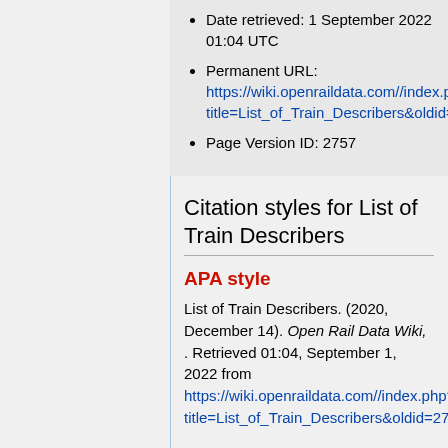Date retrieved: 1 September 2022 01:04 UTC
Permanent URL: https://wiki.openraildata.com//index.php?title=List_of_Train_Describers&oldid=…
Page Version ID: 2757
Citation styles for List of Train Describers
APA style
List of Train Describers. (2020, December 14). Open Rail Data Wiki, . Retrieved 01:04, September 1, 2022 from https://wiki.openraildata.com//index.php?title=List_of_Train_Describers&oldid=2757